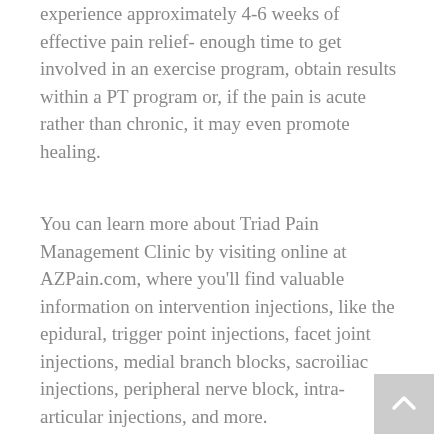experience approximately 4-6 weeks of effective pain relief- enough time to get involved in an exercise program, obtain results within a PT program or, if the pain is acute rather than chronic, it may even promote healing.
You can learn more about Triad Pain Management Clinic by visiting online at AZPain.com, where you'll find valuable information on intervention injections, like the epidural, trigger point injections, facet joint injections, medial branch blocks, sacroiliac injections, peripheral nerve block, intra-articular injections, and more.